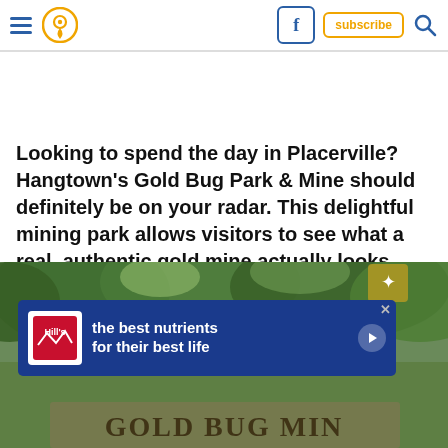Navigation header with hamburger menu, location pin icon, Facebook icon, subscribe button, and search icon
Looking to spend the day in Placerville? Hangtown's Gold Bug Park & Mine should definitely be on your radar. This delightful mining park allows visitors to see what a real, authentic gold mine actually looks like...and so much more!
[Figure (photo): Outdoor photo showing trees and greenery with a 'Gold Bug Mine' sign partially visible at the bottom, overlaid with a Hill's Pet Nutrition advertisement banner saying 'the best nutrients for their best life']